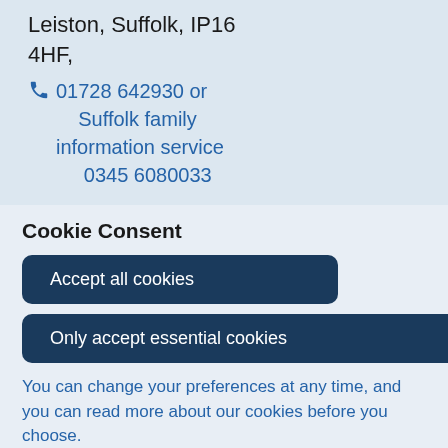Leiston, Suffolk, IP16 4HF,
01728 642930 or Suffolk family information service 0345 6080033
[Figure (illustration): Three circular icon buttons: envelope/email icon, chain link icon, and heart/favourite icon]
Cookie Consent
Accept all cookies
Only accept essential cookies
You can change your preferences at any time, and you can read more about our cookies before you choose.
Leave Website